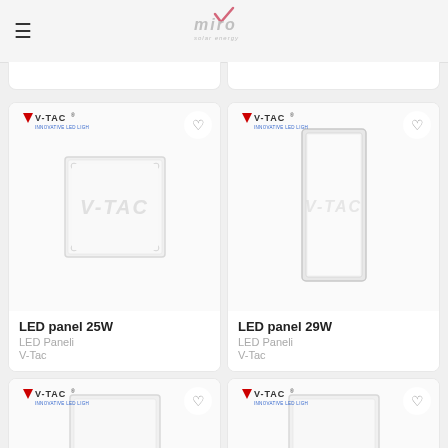miro solar energy
[Figure (photo): V-TAC LED panel 25W square white surface mount panel light product photo]
LED panel 25W
LED Paneli
V-Tac
[Figure (photo): V-TAC LED panel 29W tall rectangular LED panel with grey frame product photo]
LED panel 29W
LED Paneli
V-Tac
[Figure (photo): V-TAC LED panel product photo partial view, bottom of page]
[Figure (photo): V-TAC LED panel product photo partial view, bottom of page]